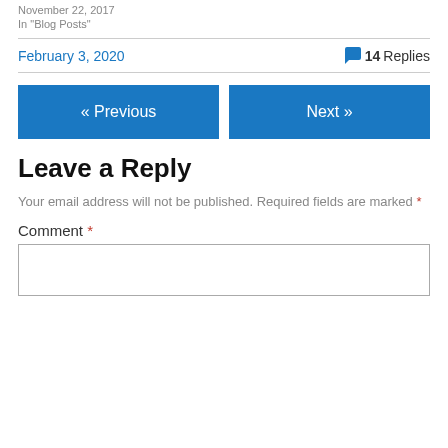November 22, 2017
In "Blog Posts"
February 3, 2020
💬 14 Replies
« Previous
Next »
Leave a Reply
Your email address will not be published. Required fields are marked *
Comment *